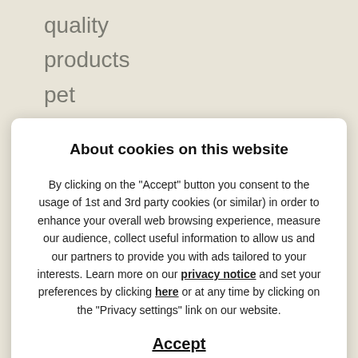quality
products
pet
owners
know
and
About cookies on this website
By clicking on the "Accept" button you consent to the usage of 1st and 3rd party cookies (or similar) in order to enhance your overall web browsing experience, measure our audience, collect useful information to allow us and our partners to provide you with ads tailored to your interests. Learn more on our privacy notice and set your preferences by clicking here or at any time by clicking on the "Privacy settings" link on our website.
Accept